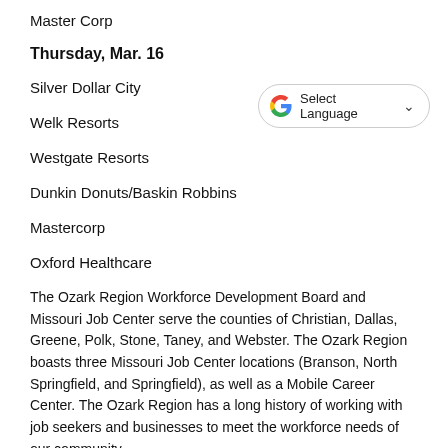Master Corp
Thursday, Mar. 16
Silver Dollar City
Welk Resorts
Westgate Resorts
Dunkin Donuts/Baskin Robbins
Mastercorp
Oxford Healthcare
The Ozark Region Workforce Development Board and Missouri Job Center serve the counties of Christian, Dallas, Greene, Polk, Stone, Taney, and Webster. The Ozark Region boasts three Missouri Job Center locations (Branson, North Springfield, and Springfield), as well as a Mobile Career Center. The Ozark Region has a long history of working with job seekers and businesses to meet the workforce needs of our community.